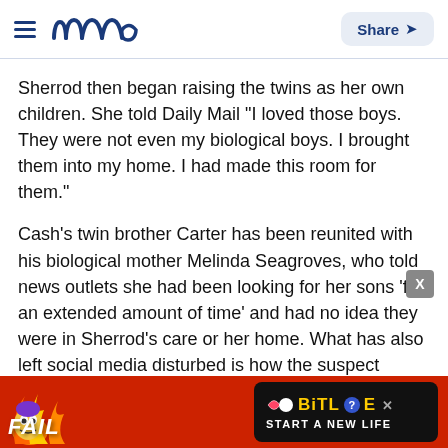meaww — Share
Sherrod then began raising the twins as her own children. She told Daily Mail "I loved those boys. They were not even my biological boys. I brought them into my home. I had made this room for them."
Cash's twin brother Carter has been reunited with his biological mother Melinda Seagroves, who told news outlets she had been looking for her sons 'for an extended amount of time' and had no idea they were in Sherrod's care or her home. What has also left social media disturbed is how the suspect Darriynn Brown returned the same day to possibly kidnap Carter as well.
[Figure (screenshot): Advertisement banner for BitLife game showing 'FAIL' text with cartoon character and flames, with 'START A NEW LIFE' tagline on dark background]